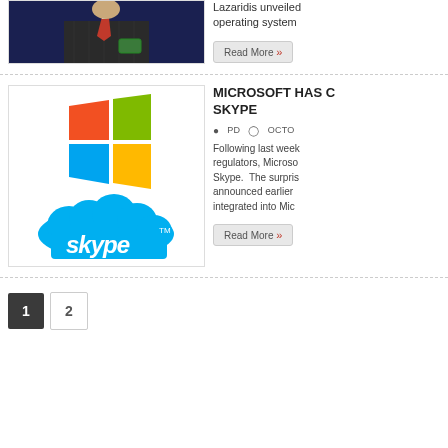[Figure (photo): Photo of a businessman in a dark pinstripe suit holding a device, against dark blue background — partially cropped at top]
Lazaridis unveiled operating system
Read More »
[Figure (logo): Microsoft Windows logo (four colored window panes: red/orange, green, blue, yellow) above the Skype logo (light blue cloud shape with 'skype' text in white and TM mark)]
MICROSOFT HAS C SKYPE
PD   OCTO
Following last week regulators, Microso Skype.  The surpris announced earlier integrated into Mic
Read More »
1   2